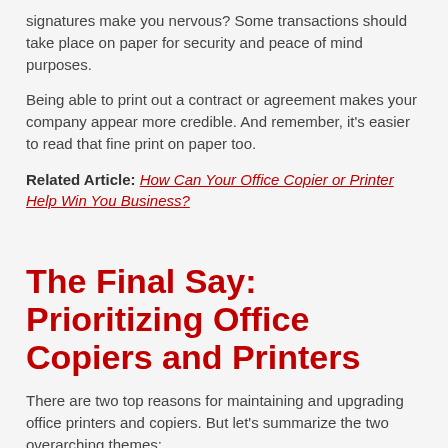signatures make you nervous? Some transactions should take place on paper for security and peace of mind purposes.
Being able to print out a contract or agreement makes your company appear more credible. And remember, it's easier to read that fine print on paper too.
Related Article: How Can Your Office Copier or Printer Help Win You Business?
The Final Say: Prioritizing Office Copiers and Printers
There are two top reasons for maintaining and upgrading office printers and copiers. But let's summarize the two overarching themes:
Copiers and printers have changed with the times. They